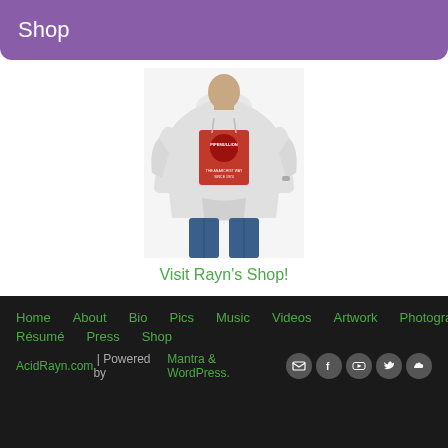Shop
[Figure (photo): Person wearing a white hoodie with a graphic print on it]
Visit Rayn's Shop!
Home   About   Bio   Pics   Music   Videos   Artwork   Photography   Résumé   Press   Shop
AcidRayn.com | Powered by Mantra & WordPress.